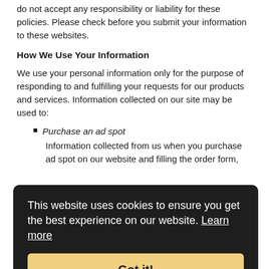do not accept any responsibility or liability for these policies. Please check before you submit your information to these websites.
How We Use Your Information
We use your personal information only for the purpose of responding to and fulfilling your requests for our products and services. Information collected on our site may be used to:
Purchase an ad spot
Information collected from us when you purchase ad spot on our website and filling the order form,
...sed to ...ly. We ...r
[Figure (screenshot): Cookie consent banner overlay with dark background. Text reads: 'This website uses cookies to ensure you get the best experience on our website. Learn more' with a 'Got it!' button in gold/yellow color.]
...have ...ng the terms and conditions on our site).